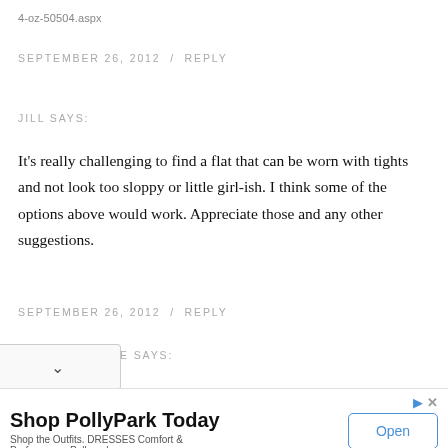4-oz-50504.aspx
SEPTEMBER 26, 2012  /  REPLY
JILL SAYS:
It's really challenging to find a flat that can be worn with tights and not look too sloppy or little girl-ish. I think some of the options above would work. Appreciate those and any other suggestions.
SEPTEMBER 26, 2012  /  REPLY
E SAYS:
[Figure (screenshot): Advertisement banner for PollyPark with 'Shop PollyPark Today' headline, 'Shop the Outfits. DRESSES Comfort & Performance Pollypark' subtext, and an 'Open' button]